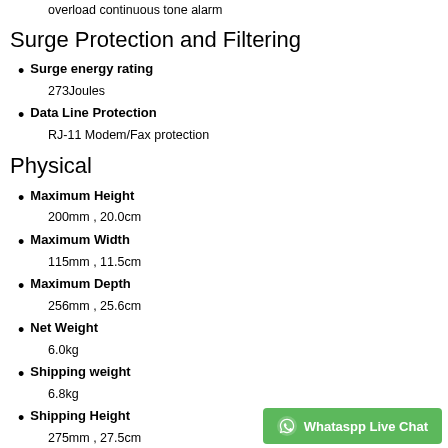Alarm: when on battery + Automatic low battery alarm + overload continuous tone alarm
Surge Protection and Filtering
Surge energy rating
273Joules
Data Line Protection
RJ-11 Modem/Fax protection
Physical
Maximum Height
200mm , 20.0cm
Maximum Width
115mm , 11.5cm
Maximum Depth
256mm , 25.6cm
Net Weight
6.0kg
Shipping weight
6.8kg
Shipping Height
275mm , 27.5cm
Shipping Width